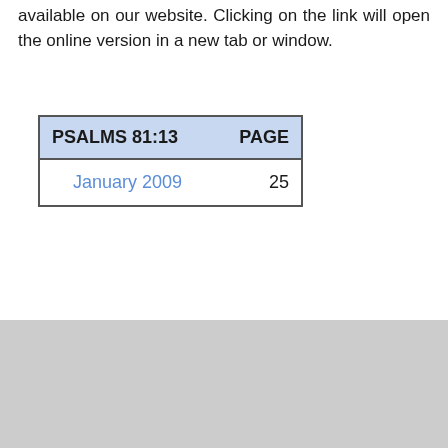available on our website. Clicking on the link will open the online version in a new tab or window.
| PSALMS 81:13 | PAGE |
| --- | --- |
| January 2009 | 25 |
[Figure (logo): YouTube logo in grayscale footer bar]
MENU  ean Bible Society